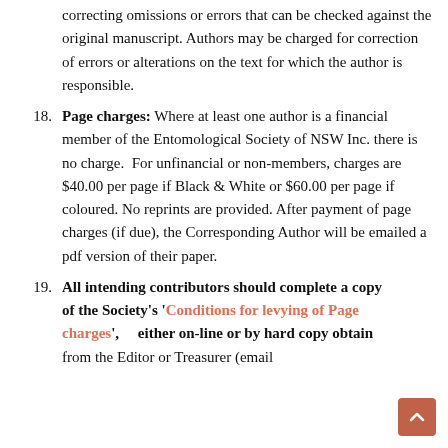correcting omissions or errors that can be checked against the original manuscript. Authors may be charged for correction of errors or alterations on the text for which the author is responsible.
18. Page charges: Where at least one author is a financial member of the Entomological Society of NSW Inc. there is no charge.  For unfinancial or non-members, charges are $40.00 per page if Black & White or $60.00 per page if coloured. No reprints are provided. After payment of page charges (if due), the Corresponding Author will be emailed a pdf version of their paper.
19. All intending contributors should complete a copy of the Society's 'Conditions for levying of Page charges',    either on-line or by hard copy obtain from the Editor or Treasurer (email